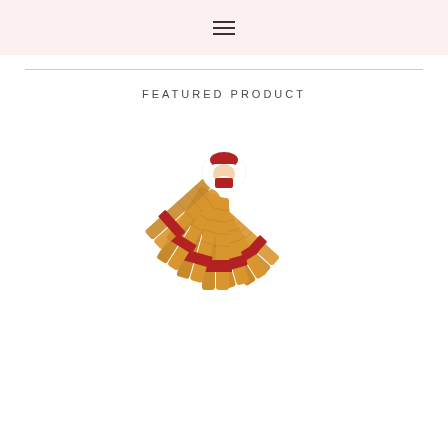Navigation menu icon (hamburger)
FEATURED PRODUCT
[Figure (photo): Groups of rolled beeswax taper candles bundled with red fabric ribbon and twine, arranged in a fan/sunburst pattern on a white background, with a small decorative Santa Claus figure visible at the top center.]